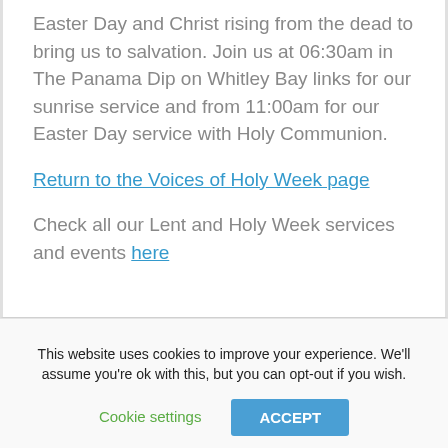Easter Day and Christ rising from the dead to bring us to salvation. Join us at 06:30am in The Panama Dip on Whitley Bay links for our sunrise service and from 11:00am for our Easter Day service with Holy Communion.
Return to the Voices of Holy Week page
Check all our Lent and Holy Week services and events here
This website uses cookies to improve your experience. We'll assume you're ok with this, but you can opt-out if you wish.